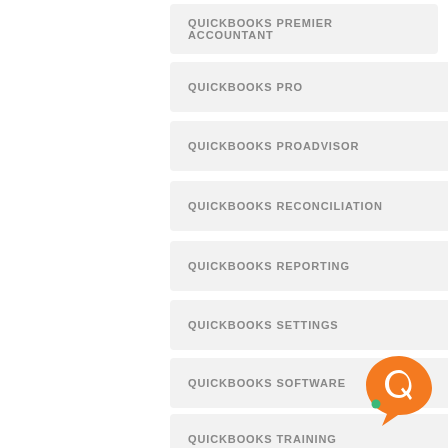QUICKBOOKS PREMIER ACCOUNTANT
QUICKBOOKS PRO
QUICKBOOKS PROADVISOR
QUICKBOOKS RECONCILIATION
QUICKBOOKS REPORTING
QUICKBOOKS SETTINGS
QUICKBOOKS SOFTWARE
QUICKBOOKS TRAINING
QUICKBOOKS TRAINING OR HOW TO